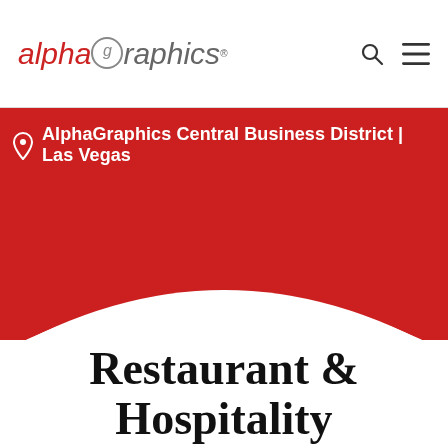alphagraphics
AlphaGraphics Central Business District | Las Vegas
Restaurant & Hospitality